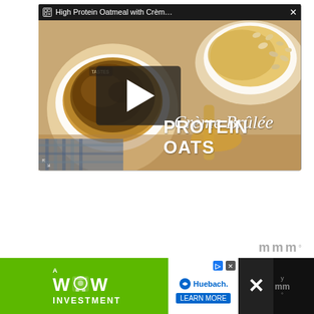ced
d beet
[Figure (screenshot): Video popup overlay showing 'High Protein Oatmeal with Crème Brûlée Protein Oats' with a play button over a food photo thumbnail showing oatmeal bowls with oats, titled 'Crème Brûlée PROTEIN OATS']
[Figure (logo): Taboola logo watermark in gray at bottom right]
[Figure (screenshot): Bottom advertisement bar: green banner 'A WOW INVESTMENT' with washing machine graphic, Huebach logo with LEARN MORE button, and close X button]